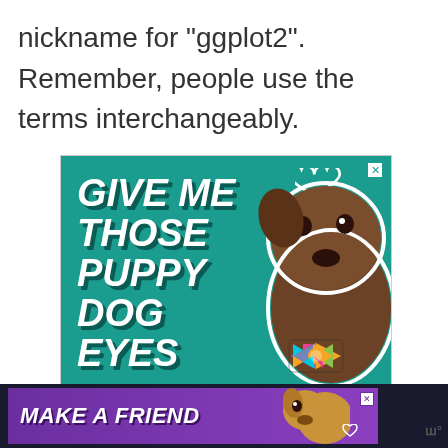nickname for “ggplot2”. Remember, people use the terms interchangeably.
[Figure (photo): Teal advertisement banner with text 'GIVE ME THOSE PUPPY DOG EYES' in bold italic white font with dark shadow, a brindle dog wearing a colorful bow tie in the right side, and white heart outlines in the top right corner. A small close (X) button in the top right.]
[Figure (photo): Dark bottom advertisement bar with purple background reading 'MAKE A FRIEND' in bold italic white text, with a dog image and heart icons. A small Wattpad-style logo on the far right.]